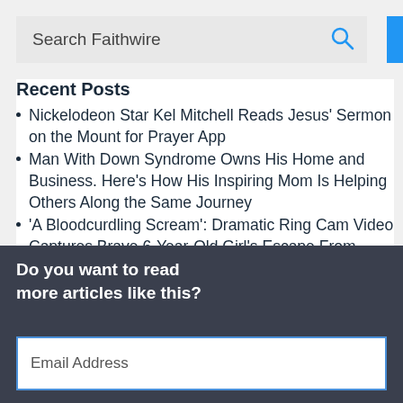Search Faithwire
Recent Posts
Nickelodeon Star Kel Mitchell Reads Jesus' Sermon on the Mount for Prayer App
Man With Down Syndrome Owns His Home and Business. Here's How His Inspiring Mom Is Helping Others Along the Same Journey
'A Bloodcurdling Scream': Dramatic Ring Cam Video Captures Brave 6-Year-Old Girl's Escape From Alleged Would-Be Abductor
Do you want to read more articles like this?
Email Address